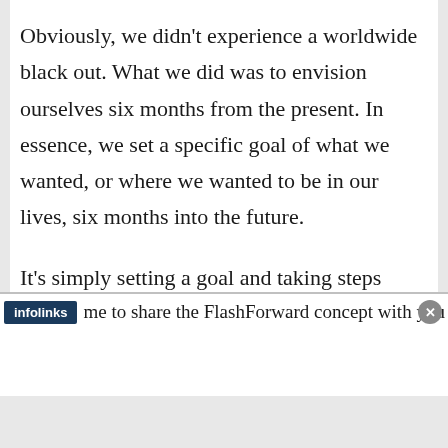Obviously, we didn't experience a worldwide black out. What we did was to envision ourselves six months from the present. In essence, we set a specific goal of what we wanted, or where we wanted to be in our lives, six months into the future.
It's simply setting a goal and taking steps within a set period of time to ensure that you meet it. You can do it any time you want, but since we're starting a new year, I thought it would be a good me to share the FlashForward concept with you